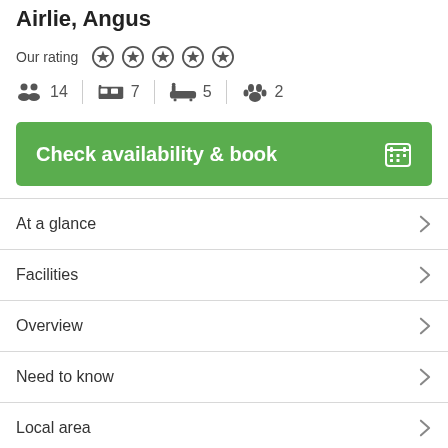Airlie, Angus
Our rating [5 stars]
14 guests | 7 bedrooms | 5 bathrooms | 2 pets
Check availability & book
At a glance
Facilities
Overview
Need to know
Local area